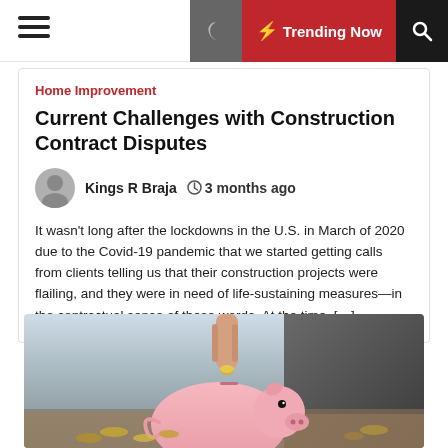Home Improvement | Trending Now
Current Challenges with Construction Contract Disputes
Kings R Braja   3 months ago
It wasn’t long after the lockdowns in the U.S. in March of 2020 due to the Covid-19 pandemic that we started getting calls from clients telling us that their construction projects were flailing, and they were in need of life-sustaining measures—in the contractual sense of those words. At the time, […]
[Figure (photo): A hand inserting a coin into a pink piggy bank, with coins scattered on a wooden surface in the foreground and a blurred background.]